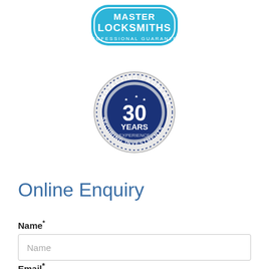[Figure (logo): Master Locksmiths Professional Guarantee logo - blue badge shape with white text]
[Figure (logo): Round badge: Protecting Property, 30 Years Experience, Securing Investments - dark blue and silver]
Online Enquiry
Name*
Name (placeholder in input box)
Email*